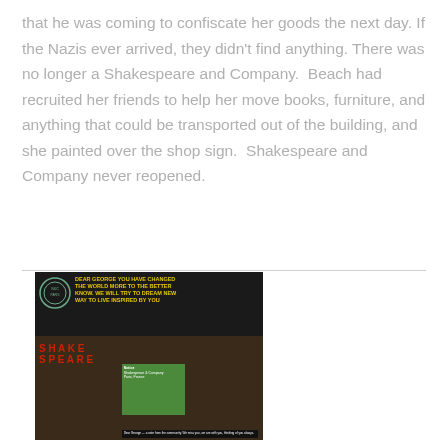that he was coming to confiscate her goods the next day. If the Nazis ever arrived, they didn't find anything. There was no longer a Shakespeare and Company.  Beach had recruited her friends to help her move books, furniture, and anything that could be transported out of the building, and she painted over the shop sign.  Shakespeare and Company never reopened.
[Figure (photo): A photograph of a bookstore window display, likely Shakespeare and Company. Yellow text written on the upper dark portion reads 'DEAR GEORGE YOU HAVE CHANGED THE WORLD MORE THAN YOU KNOW. WE WILL TRY TO DREAM NEW WAYS TO LIVE INSPIRED BY...' A circular seal/logo is visible in the upper left. Red decorative text appears on the window glass below. A green notice/flyer is posted in the middle section. Books are visible on shelves in the background. A small black information card is at the bottom.]